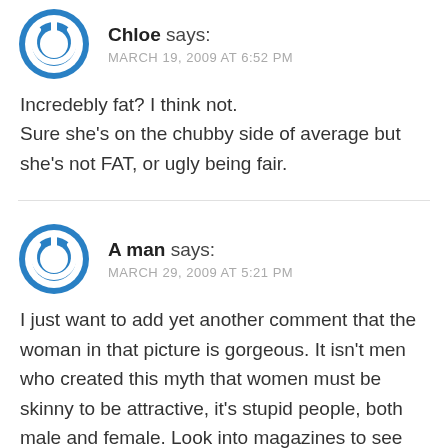[Figure (illustration): Blue circular power button avatar icon for user Chloe]
Chloe says:
MARCH 19, 2009 AT 6:52 PM
Incredebly fat? I think not.
Sure she's on the chubby side of average but she's not FAT, or ugly being fair.
[Figure (illustration): Blue circular power button avatar icon for user A man]
A man says:
MARCH 29, 2009 AT 5:21 PM
I just want to add yet another comment that the woman in that picture is gorgeous. It isn't men who created this myth that women must be skinny to be attractive, it's stupid people, both male and female. Look into magazines to see who it is making sarcastic comments about women who aren't walking skeletons, it's as often women as men.